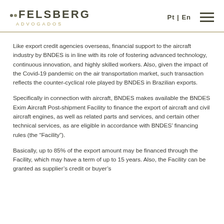FELSBERG ADVOGADOS | Pt | En
Like export credit agencies overseas, financial support to the aircraft industry by BNDES is in line with its role of fostering advanced technology, continuous innovation, and highly skilled workers. Also, given the impact of the Covid-19 pandemic on the air transportation market, such transaction reflects the counter-cyclical role played by BNDES in Brazilian exports.
Specifically in connection with aircraft, BNDES makes available the BNDES Exim Aircraft Post-shipment Facility to finance the export of aircraft and civil aircraft engines, as well as related parts and services, and certain other technical services, as are eligible in accordance with BNDES’ financing rules (the “Facility”).
Basically, up to 85% of the export amount may be financed through the Facility, which may have a term of up to 15 years. Also, the Facility can be granted as supplier’s credit or buyer’s